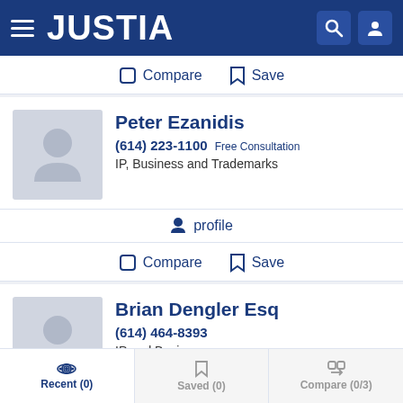JUSTIA
Compare  Save
Peter Ezanidis
(614) 223-1100 Free Consultation
IP, Business and Trademarks
profile
Compare  Save
Brian Dengler Esq
(614) 464-8393
IP and Business
Recent (0)  Saved (0)  Compare (0/3)